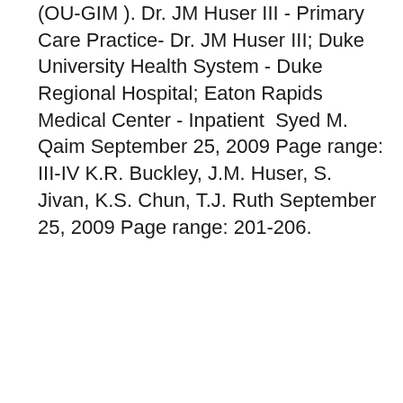(OU-GIM). Dr. JM Huser III - Primary Care Practice- Dr. JM Huser III; Duke University Health System - Duke Regional Hospital; Eaton Rapids Medical Center - Inpatient  Syed M. Qaim September 25, 2009 Page range: III-IV K.R. Buckley, J.M. Huser, S. Jivan, K.S. Chun, T.J. Ruth September 25, 2009 Page range: 201-206.
[Figure (photo): Close-up photograph of a desk with papers, documents, a yellow sticky note or card holder, and a dark object, with a teal/blue-green wall in the background. The scene suggests a medical or office setting with stacked paperwork and maps or forms visible.]